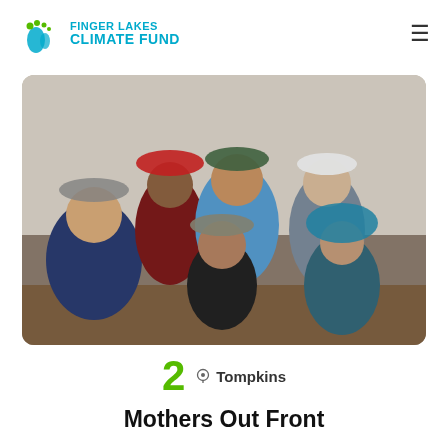FINGER LAKES CLIMATE FUND
[Figure (photo): Group photo of six women wearing hats, seated and standing around a table in an indoor meeting room. They are smiling at the camera.]
2  Tompkins
Mothers Out Front